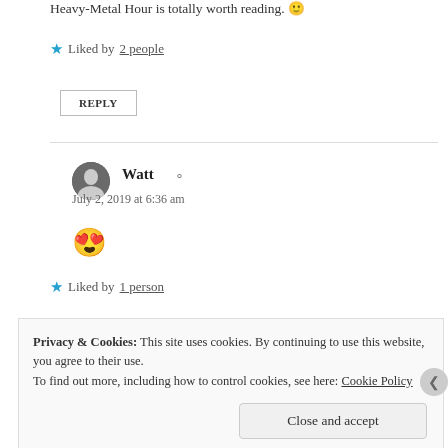Heavy-Metal Hour is totally worth reading. 🙂
★ Liked by 2 people
REPLY
Watt
July 2, 2019 at 6:36 am
😍
★ Liked by 1 person
Privacy & Cookies: This site uses cookies. By continuing to use this website, you agree to their use.
To find out more, including how to control cookies, see here: Cookie Policy
Close and accept